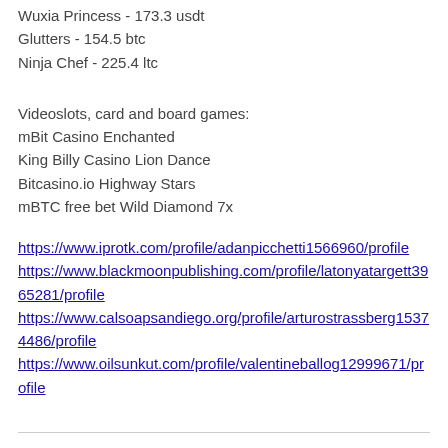Wuxia Princess - 173.3 usdt
Glutters - 154.5 btc
Ninja Chef - 225.4 ltc
Videoslots, card and board games:
mBit Casino Enchanted
King Billy Casino Lion Dance
Bitcasino.io Highway Stars
mBTC free bet Wild Diamond 7x
https://www.iprotk.com/profile/adanpicchetti1566960/profile
https://www.blackmoonpublishing.com/profile/latonyatargett3965281/profile
https://www.calsoapsandiego.org/profile/arturostrassberg15374486/profile
https://www.oilsunkut.com/profile/valentineballog12999671/profile